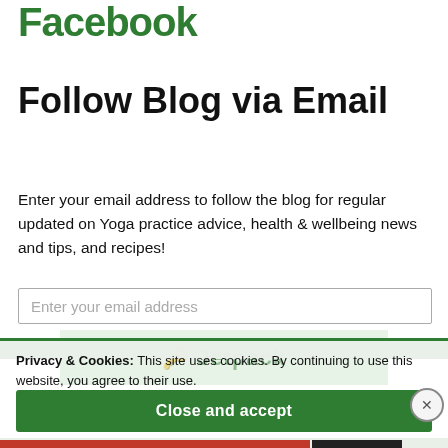Facebook
Follow Blog via Email
Enter your email address to follow the blog for regular updated on Yoga practice advice, health & wellbeing news and tips, and recipes!
Enter your email address
Privacy & Cookies: This site uses cookies. By continuing to use this website, you agree to their use.
To find out more, including how to control cookies, see here:
Cookie Policy
Close and accept